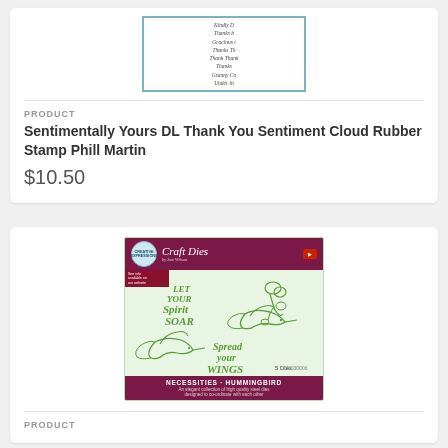[Figure (photo): Product image of Sentimentally Yours DL Thank You Sentiment Cloud Rubber Stamp by Phill Martin - a stamp with script text inside a decorative cloud border frame]
PRODUCT
Sentimentally Yours DL Thank You Sentiment Cloud Rubber Stamp Phill Martin
$10.50
[Figure (photo): Product image of Creative Expressions Craft Dies Necessities Hummingbird set by Sue Wilson - package showing green die-cut hummingbirds, flowers, and sentiment text 'Let Your Spirit Soar' and 'Spread Your Wings', 5 dies]
PRODUCT